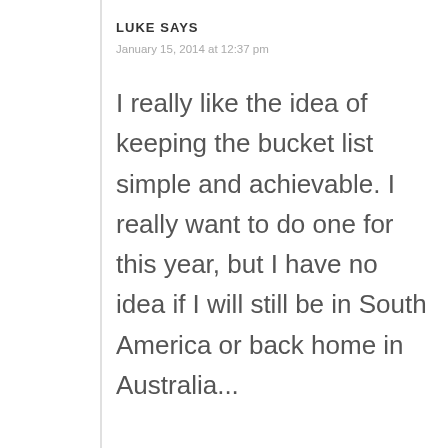LUKE SAYS
January 15, 2014 at 12:37 pm
I really like the idea of keeping the bucket list simple and achievable. I really want to do one for this year, but I have no idea if I will still be in South America or back home in Australia...